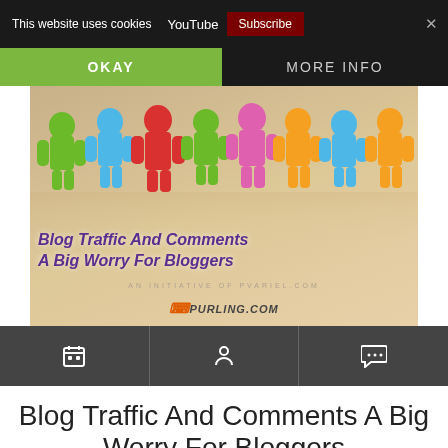This website uses cookies   YouTube   Subscribe   ×
OKAY   MORE INFO
[Figure (photo): Hero banner image showing colorful 3D lego-like figures (green, blue, red, pink, green, pink, orange, blue, orange) standing in a row on a reflective surface, with the text 'Blog Traffic And Comments A Big Worry For Bloggers' and 'AN INITIATIVE OF PVARIEL.COM' and a logo overlay.]
Blog Traffic And Comments A Big Worry For Bloggers
Posted in Blog Comments, Blogging, and I W S G
[Figure (infographic): Social sharing bar with Twitter, Facebook, Email, WhatsApp, SMS and more icons]